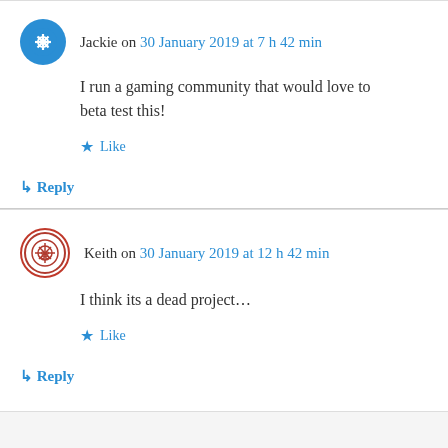Jackie on 30 January 2019 at 7 h 42 min
I run a gaming community that would love to beta test this!
Like
↳ Reply
Keith on 30 January 2019 at 12 h 42 min
I think its a dead project…
Like
↳ Reply